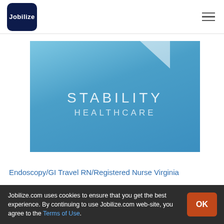Jobilize
[Figure (logo): Stability Healthcare logo on blue gradient background with white geometric shape and text 'STABILITY HEALTHCARE']
Endoscopy/GI Travel RN/Registered Nurse Virginia
Jobilize.com uses cookies to ensure that you get the best experience. By continuing to use Jobilize.com web-site, you agree to the Terms of Use.